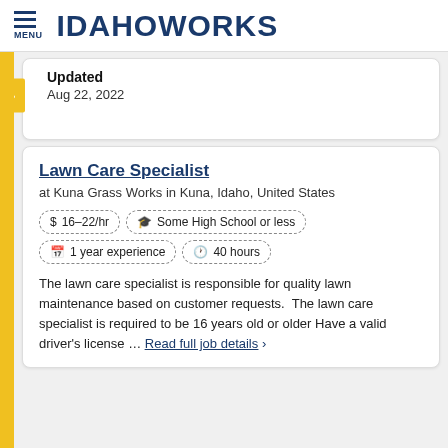MENU  IdahoWorks
Updated
Aug 22, 2022
Lawn Care Specialist
at Kuna Grass Works in Kuna, Idaho, United States
$ 16–22/hr  🎓 Some High School or less  📅 1 year experience  🕐 40 hours
The lawn care specialist is responsible for quality lawn maintenance based on customer requests.  The lawn care specialist is required to be 16 years old or older Have a valid driver's license … Read full job details  >